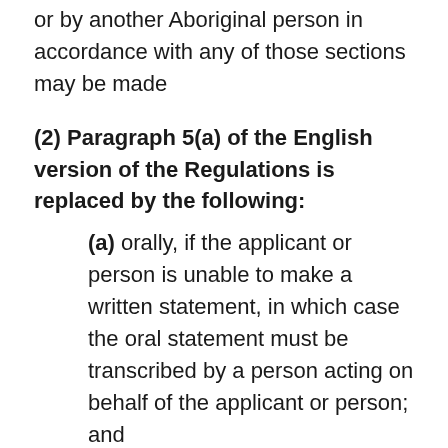or by another Aboriginal person in accordance with any of those sections may be made
(2) Paragraph 5(a) of the English version of the Regulations is replaced by the following:
(a) orally, if the applicant or person is unable to make a written statement, in which case the oral statement must be transcribed by a person acting on behalf of the applicant or person; and
13 The portion of section 6 of the Regulations before paragraph (a) is